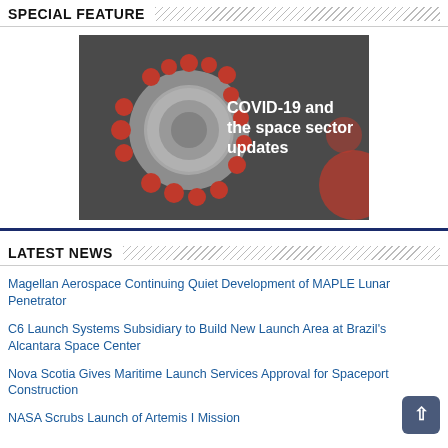SPECIAL FEATURE
[Figure (photo): COVID-19 coronavirus particle illustration on dark background with text overlay reading 'COVID-19 and the space sector updates']
LATEST NEWS
Magellan Aerospace Continuing Quiet Development of MAPLE Lunar Penetrator
C6 Launch Systems Subsidiary to Build New Launch Area at Brazil's Alcantara Space Center
Nova Scotia Gives Maritime Launch Services Approval for Spaceport Construction
NASA Scrubs Launch of Artemis I Mission